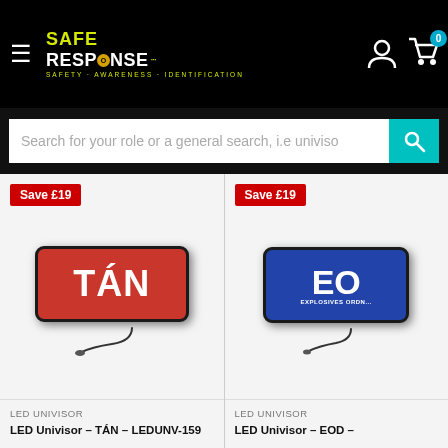Safe Response - Safety · Awareness · Identification
Search for your role or a general search, i.e univiso
[Figure (photo): Product card: LED Univisor TÁN sign (red background, white bold text TÁN) with Save £19 badge]
LED UNIVISOR
LED Univisor – TÁN – LEDUNV-159
[Figure (photo): Product card: LED Univisor EOD sign (blue background, white bold text EO / EXPLOSIVES ORDN...) with Save £19 badge]
LED UNIVISOR
LED Univisor – EOD –